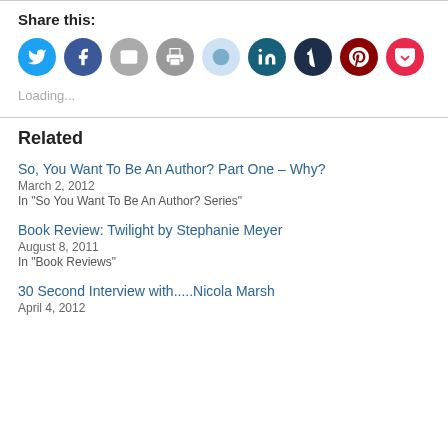Share this:
[Figure (infographic): Row of social sharing icon buttons: Twitter (blue), Facebook (blue), Email (grey), Print (grey), Reddit (light blue), LinkedIn (dark teal), Tumblr (dark navy), Pinterest (dark red), Pocket (red)]
Loading...
Related
So, You Want To Be An Author? Part One – Why?
March 2, 2012
In "So You Want To Be An Author? Series"
Book Review: Twilight by Stephanie Meyer
August 8, 2011
In "Book Reviews"
30 Second Interview with.....Nicola Marsh
April 4, 2012